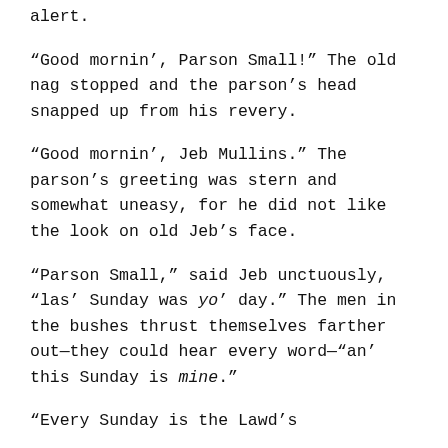alert.
“Good mornin’, Parson Small!” The old nag stopped and the parson’s head snapped up from his revery.
“Good mornin’, Jeb Mullins.” The parson’s greeting was stern and somewhat uneasy, for he did not like the look on old Jeb’s face.
“Parson Small,” said Jeb unctuously, “las’ Sunday was yo’ day.” The men in the bushes thrust themselves farther out—they could hear every word—“an’ this Sunday is mine.”
“Every Sunday is the Lawd’s